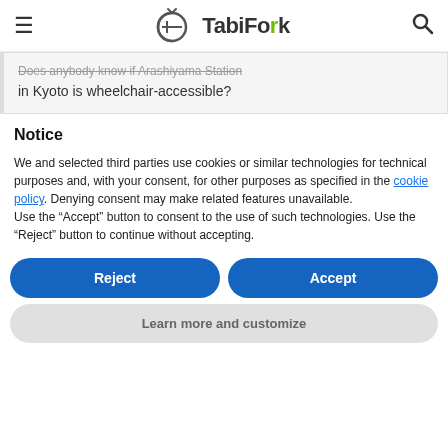TabiFoix
Does anybody know if Arashiyama Station in Kyoto is wheelchair-accessible?
Notice
We and selected third parties use cookies or similar technologies for technical purposes and, with your consent, for other purposes as specified in the cookie policy. Denying consent may make related features unavailable.
Use the "Accept" button to consent to the use of such technologies. Use the "Reject" button to continue without accepting.
Reject
Accept
Learn more and customize